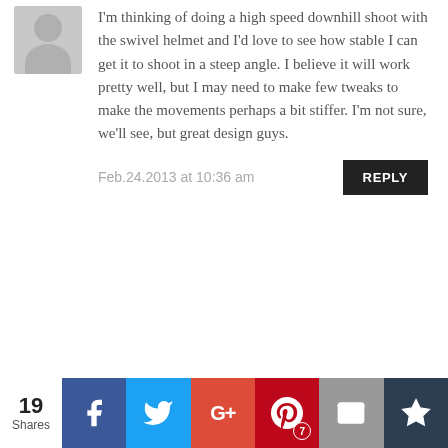I'm thinking of doing a high speed downhill shoot with the swivel helmet and I'd love to see how stable I can get it to shoot in a steep angle. I believe it will work pretty well, but I may need to make few tweaks to make the movements perhaps a bit stiffer. I'm not sure, we'll see, but great design guys.
Feb.24.2013 at 10:36 am
REPLY
Carlos
All part look cheap enough, so the whole project budget should not exceed 50 bucks I don't think. Cheap price are important on these DIY
19 Shares